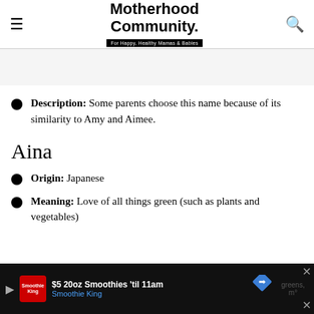Motherhood Community. For Happy, Healthy Mamas & Babies
Description: Some parents choose this name because of its similarity to Amy and Aimee.
Aina
Origin: Japanese
Meaning: Love of all things green (such as plants and vegetables)
[Figure (screenshot): Advertisement banner for Smoothie King: $5 20oz Smoothies 'til 11am]